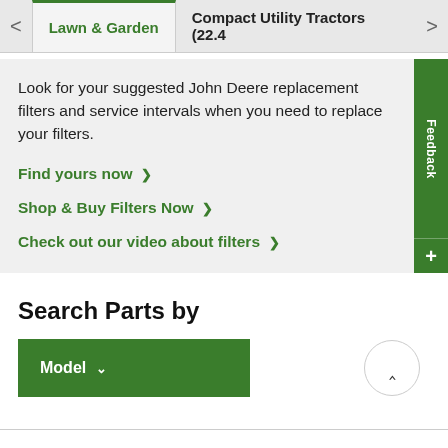Lawn & Garden | Compact Utility Tractors (22.4
Look for your suggested John Deere replacement filters and service intervals when you need to replace your filters.
Find yours now >
Shop & Buy Filters Now >
Check out our video about filters >
Search Parts by
Model